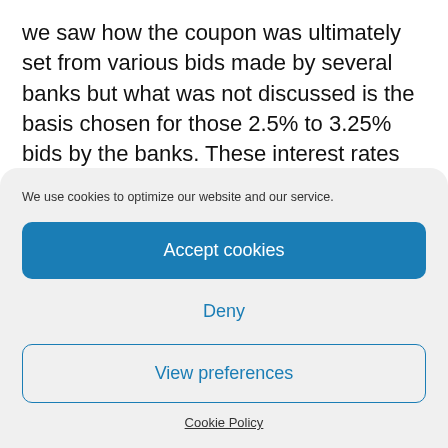we saw how the coupon was ultimately set from various bids made by several banks but what was not discussed is the basis chosen for those 2.5% to 3.25% bids by the banks. These interest rates did not materialise out of thin air: their level had been determined elsewhere but in what manner?
We use cookies to optimize our website and our service.
Accept cookies
Deny
View preferences
Cookie Policy